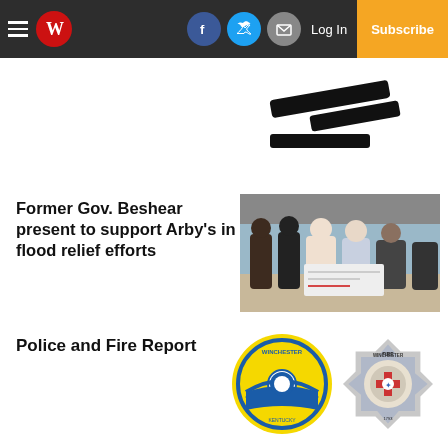Winchester Sun newspaper navigation bar with hamburger menu, W logo, Facebook, Twitter, Email icons, Log In and Subscribe buttons
[Figure (other): Redacted/blacked-out image showing two diagonal black bars and a horizontal black bar below them]
Former Gov. Beshear present to support Arby's in flood relief efforts
[Figure (photo): Group of people standing together holding a large check for flood relief donation]
Police and Fire Report
[Figure (logo): Winchester city seal (circular yellow and blue logo) and Winchester Fire department badge logo side by side]